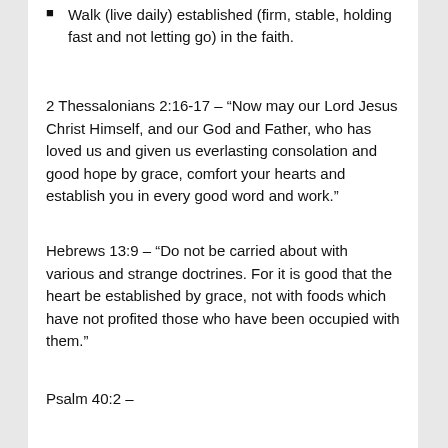Walk (live daily) established (firm, stable, holding fast and not letting go) in the faith.
2 Thessalonians 2:16-17 – “Now may our Lord Jesus Christ Himself, and our God and Father, who has loved us and given us everlasting consolation and good hope by grace, comfort your hearts and establish you in every good word and work.”
Hebrews 13:9 – “Do not be carried about with various and strange doctrines. For it is good that the heart be established by grace, not with foods which have not profited those who have been occupied with them.”
Psalm 40:2 – “He also brought me up out of a horrible pit, out of the miry clay, and set my feet upon a rock, and established my steps.”
Walk with thanksgiving
Philippians 4:4, 6 – “Rejoice in the Lord always. Again I will say, rejoice!  Be anxious for nothing, but in everything